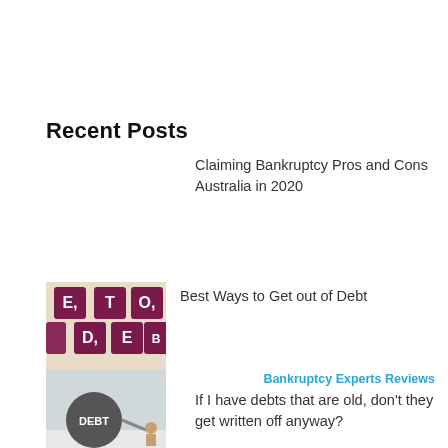Recent Posts
Claiming Bankruptcy Pros and Cons Australia in 2020
[Figure (photo): Scrabble tiles spelling DEBT on a dark red background]
Best Ways to Get out of Debt
[Figure (photo): A heavy metal ball labeled DEBT on a chain]
Bankruptcy Experts Reviews
If I have debts that are old, don't they get written off anyway?